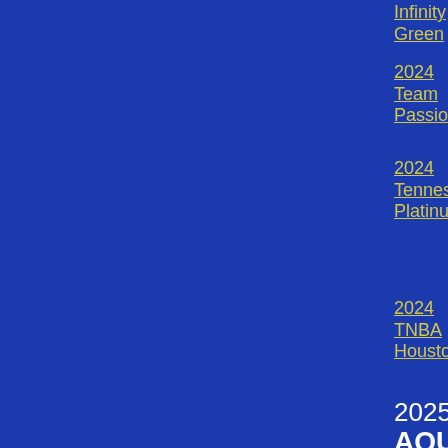Infinity Green
2024 Team Passion
2024 Tennessee Platinum
2024 TNBA Houston
2025 AQUA
2025 Aja Wilson Elite 2025
2025 Alabama Southern Starz Bush NIKE
2025 Alabama Southern Starz Veal 2025